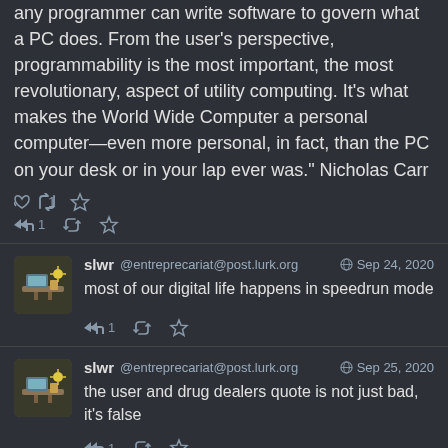...instructions to customize how it works, just as any programmer can write software to govern what a PC does. From the user's perspective, programmability is the most important, the most revolutionary, aspect of utility computing. It's what makes the World Wide Computer a personal computer—even more personal, in fact, than the PC on your desk or in your lap ever was." Nicholas Carr
slwr @entreprecariat@post.lurk.org  Sep 24, 2020
most of our digital life happens in speedrun mode
slwr @entreprecariat@post.lurk.org  Sep 25, 2020
the user and drug dealers quote is not just bad, it's false